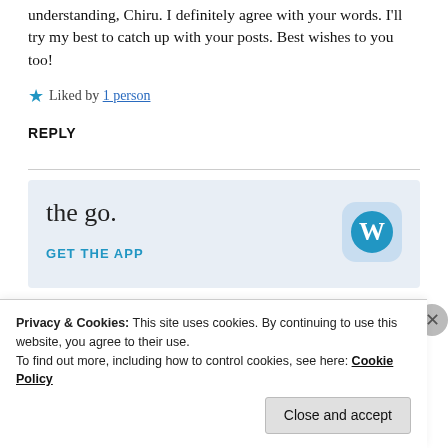understanding, Chiru. I definitely agree with your words. I'll try my best to catch up with your posts. Best wishes to you too!
★ Liked by 1 person
REPLY
[Figure (screenshot): WordPress mobile app banner with text 'the go.' and 'GET THE APP' button and WordPress logo icon]
Privacy & Cookies: This site uses cookies. By continuing to use this website, you agree to their use. To find out more, including how to control cookies, see here: Cookie Policy
Close and accept